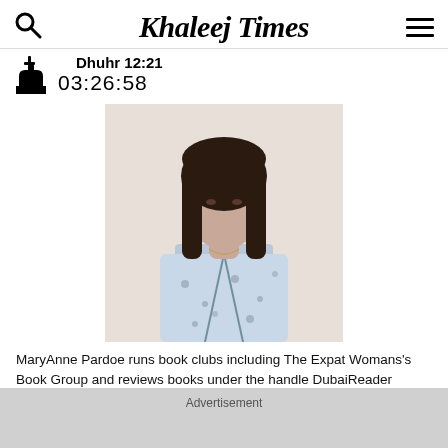Khaleej Times
Dhuhr 12:21
03:26:58
[Figure (photo): Portrait photo of MaryAnne Pardoe, a woman with long dark hair wearing a floral patterned light blue shirt, photographed from the shoulders up against a light background.]
MaryAnne Pardoe runs book clubs including The Expat Womans's Book Group and reviews books under the handle DubaiReader
By Staff Reporter
Advertisement